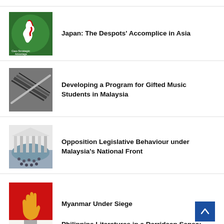Japan: The Despots' Accomplice in Asia
Developing a Program for Gifted Music Students in Malaysia
Opposition Legislative Behaviour under Malaysia's National Front
Myanmar Under Siege
Philippine Literatures in a Derridean Sense: